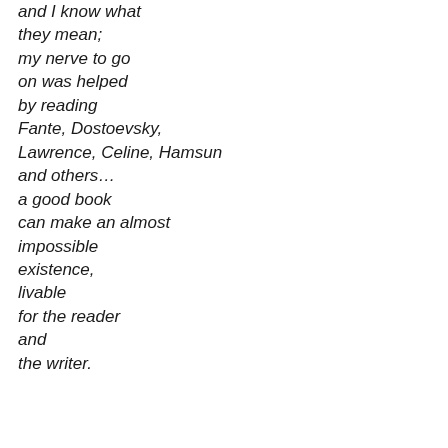and I know what they mean;
my nerve to go
on was helped
by reading
Fante, Dostoevsky,
Lawrence, Celine, Hamsun
and others…
a good book
can make an almost
impossible
existence,
livable
for the reader
and
the writer.